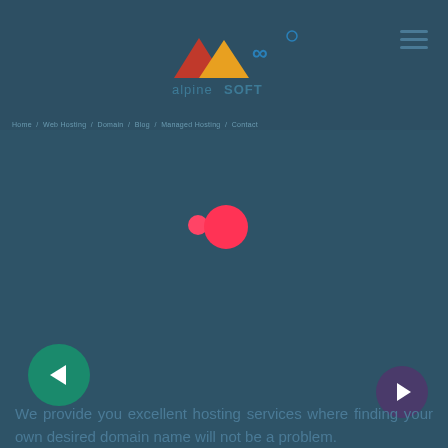[Figure (logo): AlpineSoft IT Solutions Pvt. Ltd. logo with two mountain/tent icons and decorative swirl, teal and dark color scheme]
breadcrumb navigation bar
[Figure (other): Loading spinner animation: two pink/red circles of different sizes indicating page loading state]
We provide you excellent hosting services where finding your own desired domain name will not be a problem.